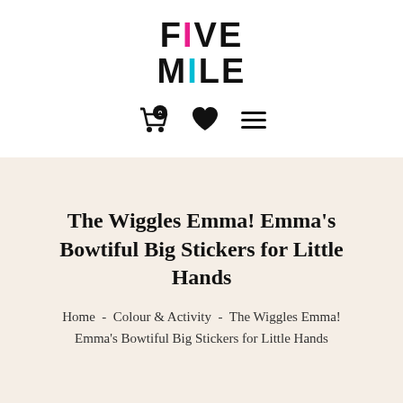[Figure (logo): Five Mile logo in bold black sans-serif text with a pink letter I in FIVE and a cyan dash in MILE]
[Figure (screenshot): Navigation icons: shopping cart with badge showing 0, heart icon, hamburger menu icon]
The Wiggles Emma! Emma's Bowtiful Big Stickers for Little Hands
Home  -  Colour & Activity  -  The Wiggles Emma! Emma's Bowtiful Big Stickers for Little Hands